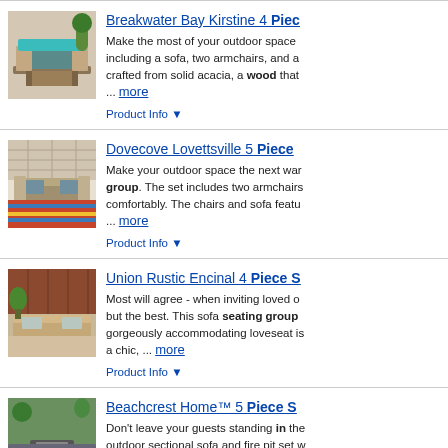Breakwater Bay Kirstine 4 Piece Seating Group — Make the most of your outdoor space including a sofa, two armchairs, and a crafted from solid acacia, a wood that ... more — Product Info
Dovecove Lovettsville 5 Piece — Make your outdoor space the next war group. The set includes two armchairs comfortably. The chairs and sofa featu ... more — Product Info
Union Rustic Encinal 4 Piece S — Most will agree - when inviting loved o but the best. This sofa seating group gorgeously accommodating loveseat is a chic, ... more — Product Info
Beachcrest Home™ 5 Piece S — Don't leave your guests standing in the outdoor sectional sofa and fire pit set soirees at home forever. This collectio ... more — Product Info